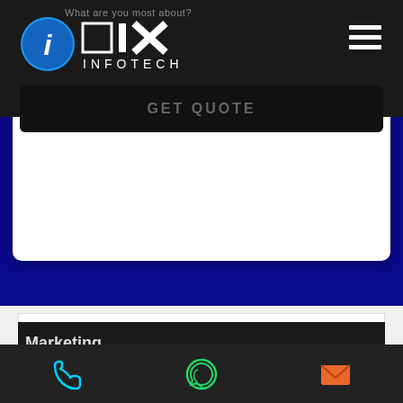[Figure (screenshot): DIX Infotech website navigation bar with logo (circle with 'i' and 'DIX INFOTECH' text), hamburger menu, and GET QUOTE button on dark background]
GET QUOTE
Design
Development
Marketing
[Figure (illustration): Bottom navigation bar with phone icon (cyan), WhatsApp icon (green), and email icon (orange)]